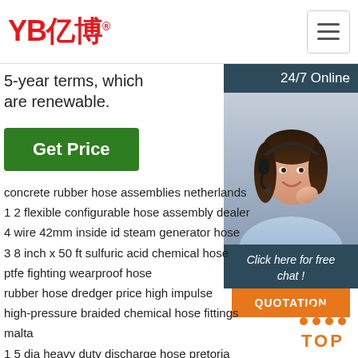YB亿博® [hamburger menu icon]
5-year terms, which are renewable.
Get Price
[Figure (photo): Customer service agent with headset, 24/7 Online banner, Click here for free chat, QUOTATION button]
concrete rubber hose assemblies netherlands
1 2 flexible configurable hose assembly dealer
4 wire 42mm inside id steam generator hose
3 8 inch x 50 ft sulfuric acid chemical hose
ptfe fighting wearproof hose
rubber hose dredger price high impulse
high-pressure braided chemical hose fittings malta
1 5 dia heavy duty discharge hose pretoria
dry cement hose sydney
sae j 1401 sludge hose
en856 4sp braided air flexible hose
durable automotive rubber hose
[Figure (illustration): TOP button with orange triangle/dots icon and TOP text in orange]